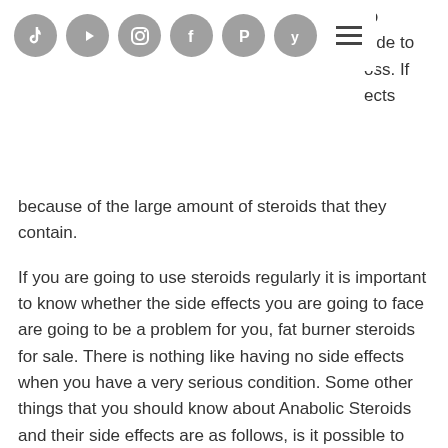[Figure (other): Navigation bar with social media icons (TikTok, YouTube, Instagram, Facebook, Pinterest, Yelp) and hamburger menu]
because of the large amount of steroids that they contain.
If you are going to use steroids regularly it is important to know whether the side effects you are going to face are going to be a problem for you, fat burner steroids for sale. There is nothing like having no side effects when you have a very serious condition. Some other things that you should know about Anabolic Steroids and their side effects are as follows, is it possible to lose weight while taking prednisone.
Do peptides work for weight loss
Some work better for weight loss and cutting